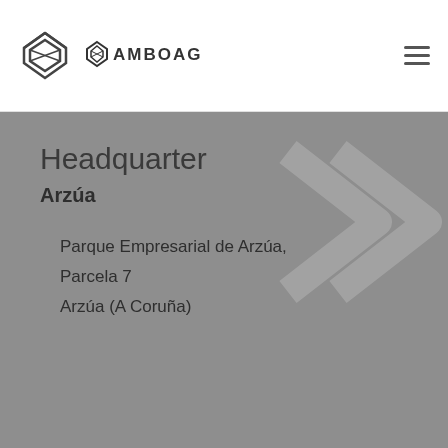[Figure (logo): Amboage logo with diamond-shaped icon and text AMBOAGE]
Headquarter
Arzúa
Parque Empresarial de Arzúa, Parcela 7 Arzúa (A Coruña)
Utilizamos cookies propias y de terceros para realizar el análisis de la navegación de los usuarios y mejorar nuestros servicios. Si continúa navegando, consideramos que acepta su uso. Puede obtener más información, o bien conocer cómo cambiar la configuración, pulsando en Más Información. [Más información Política de Cookies].